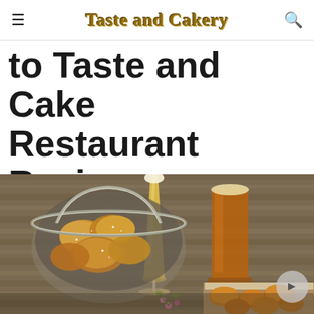Taste and Cakery
to Taste and Cake Restaurant Recipes Revealed
[Figure (photo): Food photography showing a basket of soft pretzel bites with coarse salt, two glasses of beer (one pilsner, one amber) on a rustic wood table, and fried food items in paper-lined basket in the foreground right.]